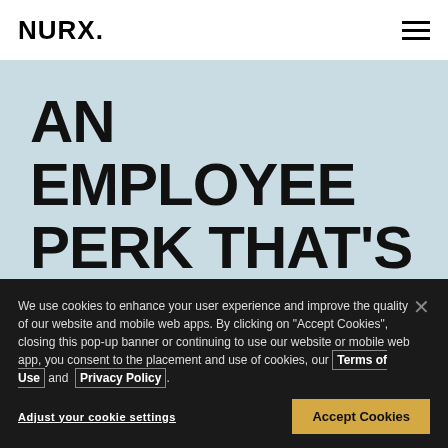NURX.
AN EMPLOYEE PERK THAT'S PERSONAL
Care for your employees' most personal health needs.
MORE INFORMATION
We use cookies to enhance your user experience and improve the quality of our website and mobile web apps. By clicking on "Accept Cookies", closing this pop-up banner or continuing to use our website or mobile web app, you consent to the placement and use of cookies, our Terms of Use and Privacy Policy.
Adjust your cookie settings
Accept Cookies